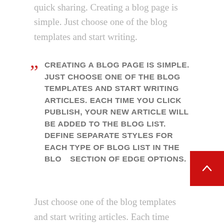quick sharing. Creating a blog page is simple. Just choose one of the blog templates and start writing.
CREATING A BLOG PAGE IS SIMPLE. JUST CHOOSE ONE OF THE BLOG TEMPLATES AND START WRITING ARTICLES. EACH TIME YOU CLICK PUBLISH, YOUR NEW ARTICLE WILL BE ADDED TO THE BLOG LIST. DEFINE SEPARATE STYLES FOR EACH TYPE OF BLOG LIST IN THE BLOG SECTION OF EDGE OPTIONS.
Just choose one of the blog templates and start writing articles. Each time